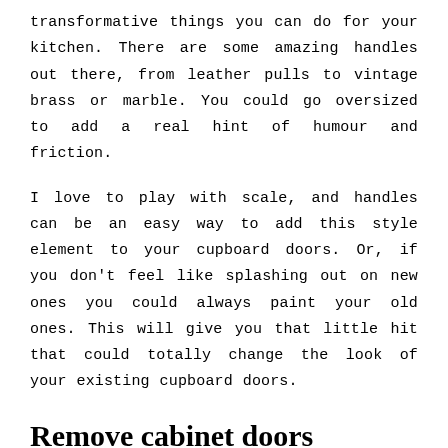transformative things you can do for your kitchen. There are some amazing handles out there, from leather pulls to vintage brass or marble. You could go oversized to add a real hint of humour and friction.
I love to play with scale, and handles can be an easy way to add this style element to your cupboard doors. Or, if you don't feel like splashing out on new ones you could always paint your old ones. This will give you that little hit that could totally change the look of your existing cupboard doors.
Remove cabinet doors
It sounds scary but it's actually a really simple and effective way to change up the look of your shelves and